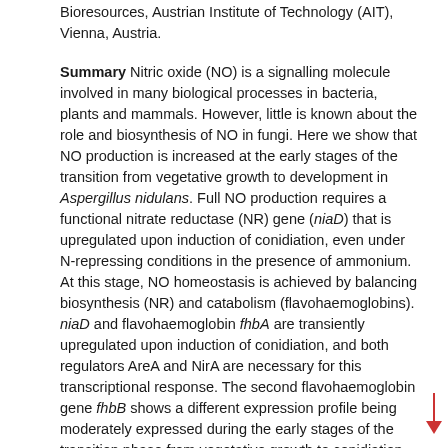Bioresources, Austrian Institute of Technology (AIT), Vienna, Austria.
Summary Nitric oxide (NO) is a signalling molecule involved in many biological processes in bacteria, plants and mammals. However, little is known about the role and biosynthesis of NO in fungi. Here we show that NO production is increased at the early stages of the transition from vegetative growth to development in Aspergillus nidulans. Full NO production requires a functional nitrate reductase (NR) gene (niaD) that is upregulated upon induction of conidiation, even under N-repressing conditions in the presence of ammonium. At this stage, NO homeostasis is achieved by balancing biosynthesis (NR) and catabolism (flavohaemoglobins). niaD and flavohaemoglobin fhbA are transiently upregulated upon induction of conidiation, and both regulators AreA and NirA are necessary for this transcriptional response. The second flavohaemoglobin gene fhbB shows a different expression profile being moderately expressed during the early stages of the transition phase from vegetative growth to conidiation, but it is strongly induced 24 h later. NO levels influence the balance between conidiation and sexual